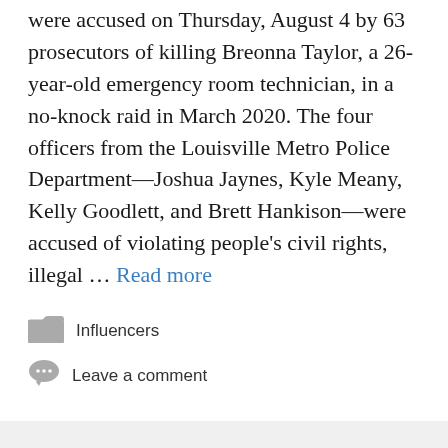were accused on Thursday, August 4 by 63 prosecutors of killing Breonna Taylor, a 26-year-old emergency room technician, in a no-knock raid in March 2020. The four officers from the Louisville Metro Police Department—Joshua Jaynes, Kyle Meany, Kelly Goodlett, and Brett Hankison—were accused of violating people's civil rights, illegal … Read more
Influencers
Leave a comment
Bruno Krupp: Who is he? Influencer is caught on